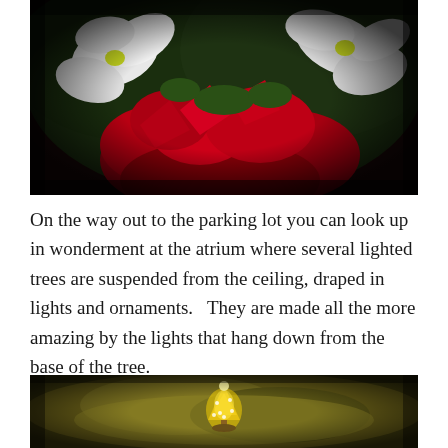[Figure (photo): Close-up photo of red poinsettia flowers and white orchids with dark vignette edges]
On the way out to the parking lot you can look up in wonderment at the atrium where several lighted trees are suspended from the ceiling, draped in lights and ornaments.   They are made all the more amazing by the lights that hang down from the base of the tree.
[Figure (photo): Photo of a small illuminated golden Christmas tree ornament against a dark olive/gold blurred background with vignette edges]